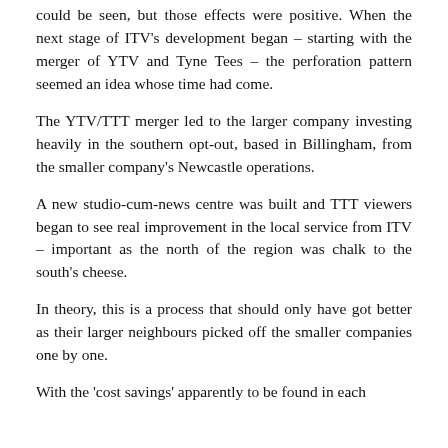could be seen, but those effects were positive. When the next stage of ITV's development began – starting with the merger of YTV and Tyne Tees – the perforation pattern seemed an idea whose time had come.
The YTV/TTT merger led to the larger company investing heavily in the southern opt-out, based in Billingham, from the smaller company's Newcastle operations.
A new studio-cum-news centre was built and TTT viewers began to see real improvement in the local service from ITV – important as the north of the region was chalk to the south's cheese.
In theory, this is a process that should only have got better as their larger neighbours picked off the smaller companies one by one.
With the 'cost savings' apparently to be found in each